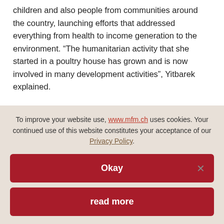children and also people from communities around the country, launching efforts that addressed everything from health to income generation to the environment. “The humanitarian activity that she started in a poultry house has grown and is now involved in many development activities”, Yitbarek explained.
Although Abebech served as General Manager of AGOHELMA, she did not draw a salary and lived in relative poverty. “She gave all of her property to the organisation”, Yitbarek said, and eventually turned the governance of AGOHELMA over to its members. “She was this
To improve your website use, www.mfm.ch uses cookies. Your continued use of this website constitutes your acceptance of our Privacy Policy.
Okay
read more